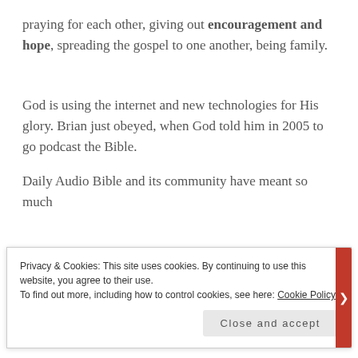praying for each other, giving out encouragement and hope, spreading the gospel to one another, being family.
God is using the internet and new technologies for His glory. Brian just obeyed, when God told him in 2005 to go podcast the Bible.
Daily Audio Bible and its community have meant so much
Privacy & Cookies: This site uses cookies. By continuing to use this website, you agree to their use.
To find out more, including how to control cookies, see here: Cookie Policy
Close and accept